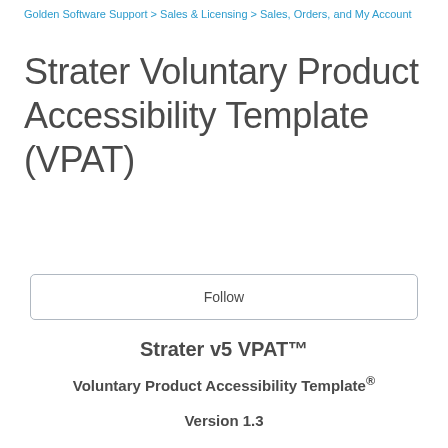Golden Software Support > Sales & Licensing > Sales, Orders, and My Account
Strater Voluntary Product Accessibility Template (VPAT)
Follow
Strater v5 VPAT™
Voluntary Product Accessibility Template®
Version 1.3